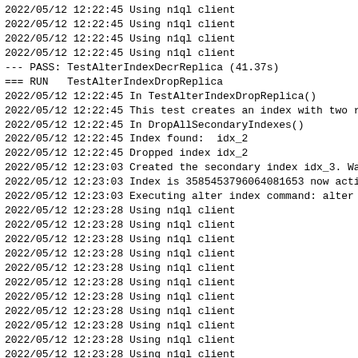2022/05/12 12:22:45 Using n1ql client
2022/05/12 12:22:45 Using n1ql client
2022/05/12 12:22:45 Using n1ql client
2022/05/12 12:22:45 Using n1ql client
--- PASS: TestAlterIndexDecrReplica (41.37s)
=== RUN   TestAlterIndexDropReplica
2022/05/12 12:22:45 In TestAlterIndexDropReplica()
2022/05/12 12:22:45 This test creates an index with two r
2022/05/12 12:22:45 In DropAllSecondaryIndexes()
2022/05/12 12:22:45 Index found:  idx_2
2022/05/12 12:22:45 Dropped index idx_2
2022/05/12 12:23:03 Created the secondary index idx_3. Wa
2022/05/12 12:23:03 Index is 3585453796064081653 now acti
2022/05/12 12:23:03 Executing alter index command: alter
2022/05/12 12:23:28 Using n1ql client
2022/05/12 12:23:28 Using n1ql client
2022/05/12 12:23:28 Using n1ql client
2022/05/12 12:23:28 Using n1ql client
2022/05/12 12:23:28 Using n1ql client
2022/05/12 12:23:28 Using n1ql client
2022/05/12 12:23:28 Using n1ql client
2022/05/12 12:23:28 Using n1ql client
2022/05/12 12:23:28 Using n1ql client
2022/05/12 12:23:28 Using n1ql client
2022/05/12 12:23:28 Using n1ql client
2022/05/12 12:23:28 Using n1ql client
2022/05/12 12:23:28 Using n1ql client
2022/05/12 12:23:28 Using n1ql client
2022/05/12 12:23:28 Using n1ql client
2022/05/12 12:23:28 Using n1ql client